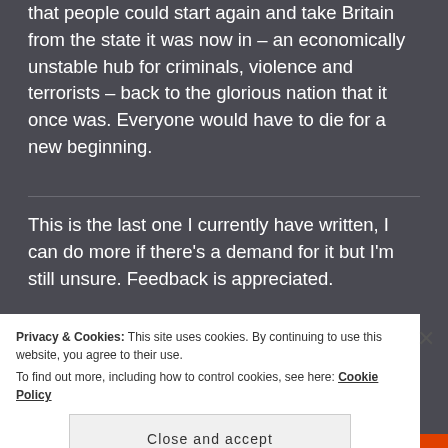that people could start again and take Britain from the state it was now in – an economically unstable hub for criminals, violence and terrorists – back to the glorious nation that it once was. Everyone would have to die for a new beginning.
This is the last one I currently have written, I can do more if there's a demand for it but I'm still unsure. Feedback is appreciated.
[Figure (screenshot): Advertisement banner: Pocket Casts app promotion reading 'The go-to app for podcast lovers' with Pocket Casts logo]
Privacy & Cookies: This site uses cookies. By continuing to use this website, you agree to their use.
To find out more, including how to control cookies, see here: Cookie Policy
Close and accept